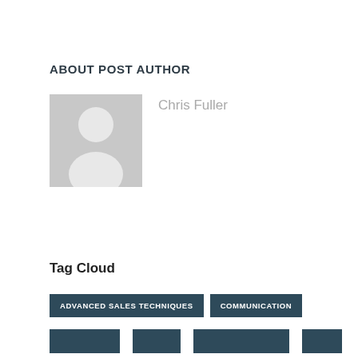ABOUT POST AUTHOR
[Figure (illustration): Generic user avatar placeholder - grey square with white person silhouette icon]
Chris Fuller
Tag Cloud
ADVANCED SALES TECHNIQUES
COMMUNICATION